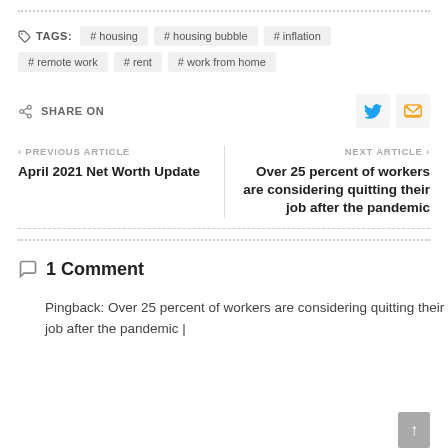TAGS: # housing  # housing bubble  # inflation  # remote work  # rent  # work from home
SHARE ON
PREVIOUS ARTICLE
April 2021 Net Worth Update
NEXT ARTICLE
Over 25 percent of workers are considering quitting their job after the pandemic
1 Comment
Pingback: Over 25 percent of workers are considering quitting their job after the pandemic |